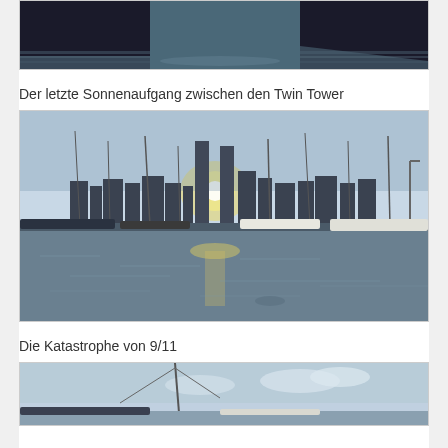[Figure (photo): Partial photo of boats moored at a marina, showing boat hulls and water, cropped at top]
Der letzte Sonnenaufgang zwischen den Twin Tower
[Figure (photo): Photo of a marina with sailboats reflected in calm water, with the New York City skyline including the Twin Towers visible in the background at sunrise/sunset]
Die Katastrophe von 9/11
[Figure (photo): Partial photo showing the top of a sailboat mast against a pale blue sky with clouds, cropped at bottom]